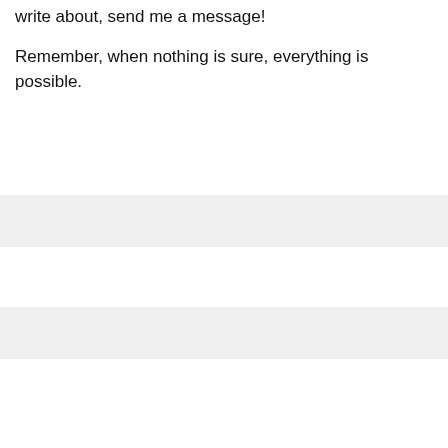write about, send me a message!
Remember, when nothing is sure, everything is possible.